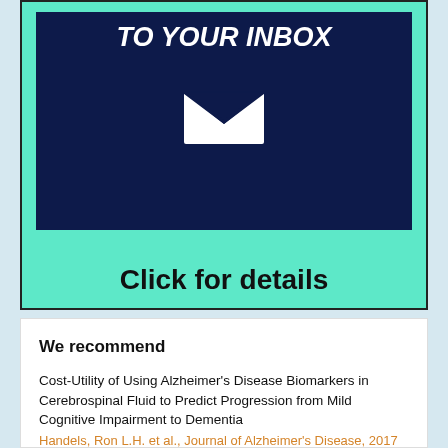[Figure (illustration): Promotional banner with dark navy background showing 'TO YOUR INBOX' text in bold italic white letters with an envelope icon below, set on a teal/mint green background with 'Click for details' text at the bottom in bold black.]
We recommend
Cost-Utility of Using Alzheimer's Disease Biomarkers in Cerebrospinal Fluid to Predict Progression from Mild Cognitive Impairment to Dementia
Handels, Ron L.H. et al., Journal of Alzheimer's Disease, 2017
Multilevel modeling of partnered relationship trajectories and relationship stability for Several Groups after traumatic brain injury